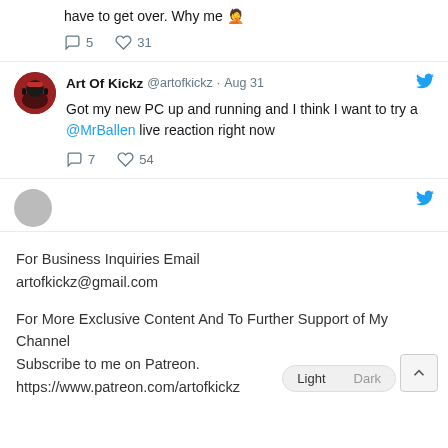have to get over. Why me 🤦
💬 5   🤍 31
[Figure (screenshot): Tweet from Art Of Kickz @artofkickz · Aug 31: Got my new PC up and running and I think I want to try a @MrBallen live reaction right now. Replies: 7, Likes: 54]
For Business Inquiries Email artofkickz@gmail.com
For More Exclusive Content And To Further Support of My Channel Subscribe to me on Patreon. https://www.patreon.com/artofkickz